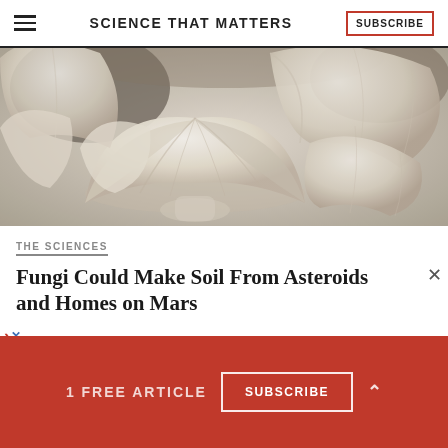SCIENCE THAT MATTERS
[Figure (photo): Close-up photograph of white oyster mushrooms clustered together, showing fan-shaped caps with soft beige and cream tones.]
THE SCIENCES
Fungi Could Make Soil From Asteroids and Homes on Mars
1 FREE ARTICLE  SUBSCRIBE